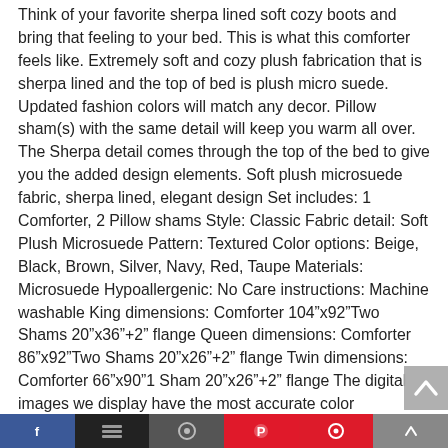Think of your favorite sherpa lined soft cozy boots and bring that feeling to your bed. This is what this comforter feels like. Extremely soft and cozy plush fabrication that is sherpa lined and the top of bed is plush micro suede. Updated fashion colors will match any decor. Pillow sham(s) with the same detail will keep you warm all over. The Sherpa detail comes through the top of the bed to give you the added design elements. Soft plush microsuede fabric, sherpa lined, elegant design Set includes: 1 Comforter, 2 Pillow shams Style: Classic Fabric detail: Soft Plush Microsuede Pattern: Textured Color options: Beige, Black, Brown, Silver, Navy, Red, Taupe Materials: Microsuede Hypoallergenic: No Care instructions: Machine washable King dimensions: Comforter 104”x92”Two Shams 20”x36”+2” flange Queen dimensions: Comforter 86”x92”Two Shams 20”x26”+2” flange Twin dimensions: Comforter 66”x90”1 Sham 20”x26”+2” flange The digital images we display have the most accurate color
[Figure (other): Bottom navigation bar with social media icons: Facebook (blue), dark, gray, Pinterest (red), red icon, gray segments]